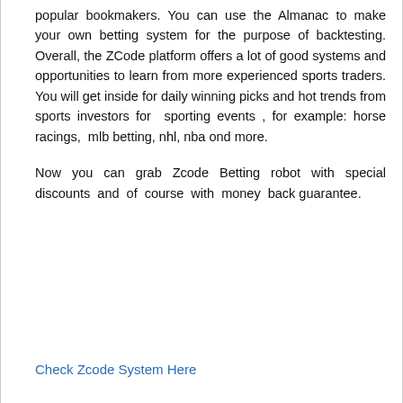popular bookmakers. You can use the Almanac to make your own betting system for the purpose of backtesting. Overall, the ZCode platform offers a lot of good systems and opportunities to learn from more experienced sports traders. You will get inside for daily winning picks and hot trends from sports investors for  sporting events , for example: horse racings,  mlb betting, nhl, nba ond more.
Now you can grab Zcode Betting robot with special discounts  and  of  course  with  money  back guarantee.
Check Zcode System Here